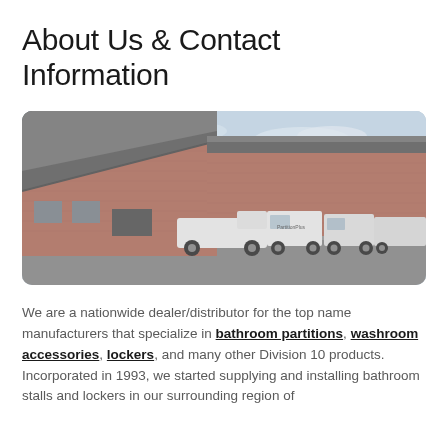About Us & Contact Information
[Figure (photo): Exterior photo of a brick commercial building with a large metal roof, with several white branded vans and a white pickup truck parked in front in a parking lot. The sky is blue with light clouds and green trees visible in the background.]
We are a nationwide dealer/distributor for the top name manufacturers that specialize in bathroom partitions, washroom accessories, lockers, and many other Division 10 products. Incorporated in 1993, we started supplying and installing bathroom stalls and lockers in our surrounding region of